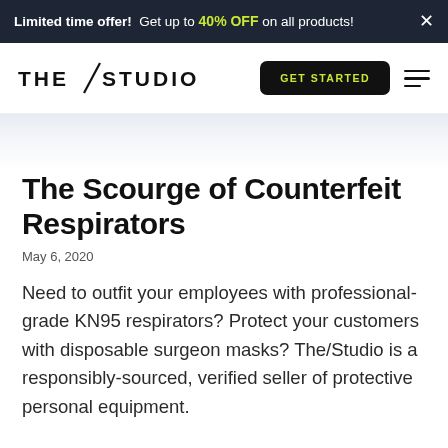Limited time offer! Get up to 40% OFF on all products! ×
[Figure (logo): THE/STUDIO wordmark logo with a diagonal slash between THE and STUDIO]
GET STARTED
The Scourge of Counterfeit Respirators
May 6, 2020
Need to outfit your employees with professional-grade KN95 respirators? Protect your customers with disposable surgeon masks? The/Studio is a responsibly-sourced, verified seller of protective personal equipment.